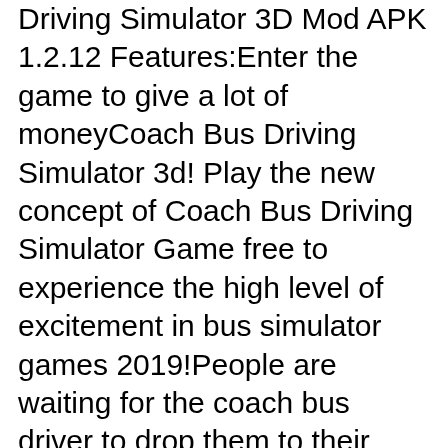Driving Simulator 3D Mod APK 1.2.12 Features:Enter the game to give a lot of moneyCoach Bus Driving Simulator 3d! Play the new concept of Coach Bus Driving Simulator Game free to experience the high level of excitement in bus simulator games 2019!People are waiting for the coach bus driver to drop them to their destination on the bus. Children have to go to school. Their school bus has some issue in it. So they can't go on the school bus. People are getting late. They need an expert city bus driver to drop them off quickly & safely. You have to take the duty to drop passengers to their destination. Driving city bus games to pick and drop the passengers is not easy as it looks. You need to be an expert in bus driving. Are you? Then take a challenge to bus drive in traffic or drop all